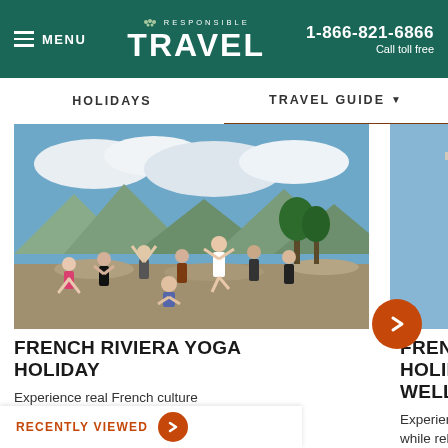MENU | Responsible Travel | 1-866-821-6866 Call toll free
HOLIDAYS | TRAVEL GUIDE
[Figure (photo): Group of people doing yoga poses on a rocky hilltop with mountains and cloudy sky in the background, French Riviera]
FRENCH RIVIERA YOGA HOLIDAY
Experience real French culture while relaxing mindfully...
[Figure (photo): Tall white building with green shutters against blue sky, French Riviera wellness holiday]
FRENCH HOLIDAY, WELLNESS
Experience re... while relaxing
RECENTLY VIEWED